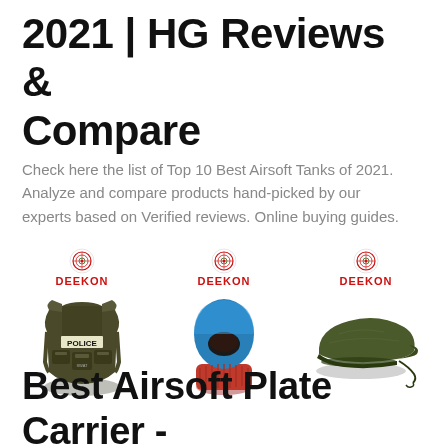2021 | HG Reviews & Compare
Check here the list of Top 10 Best Airsoft Tanks of 2021. Analyze and compare products hand-picked by our experts based on Verified reviews. Online buying guides.
[Figure (photo): Three Deekon branded product images: a police tactical vest/plate carrier, a blue balaclava mask with red trim, and an olive military beret hat.]
Best Airsoft Plate Carrier - Body armor for airsoft